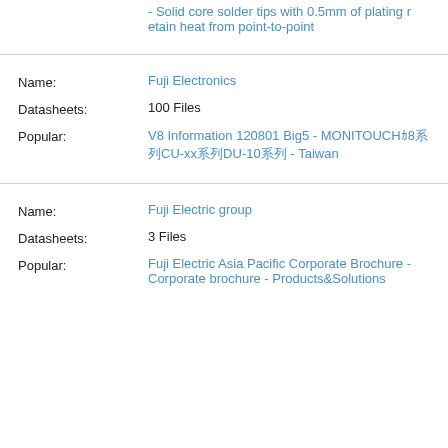- Solid core solder tips with 0.5mm of plating retain heat from point-to-point
Name: Fuji Electronics
Datasheets: 100 Files
Popular: V8 Information 120801 Big5 - MONITOUCH V8系列CU-xx系列DU-10系列 - Taiwan
Name: Fuji Electric group
Datasheets: 3 Files
Popular: Fuji Electric Asia Pacific Corporate Brochure - Corporate brochure - Products&Solutions